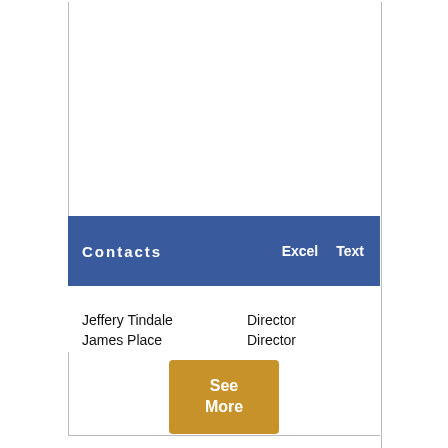Contacts
Excel   Text
Jeffery Tindale   Director
James Place   Director
See More